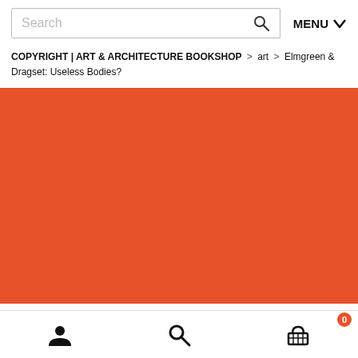Search | MENU
COPYRIGHT | ART & ARCHITECTURE BOOKSHOP > art > Elmgreen & Dragset: Useless Bodies?
[Figure (photo): Large orange/red-orange rectangular image block, book cover or product image placeholder]
User icon | Search icon | Cart icon (0)